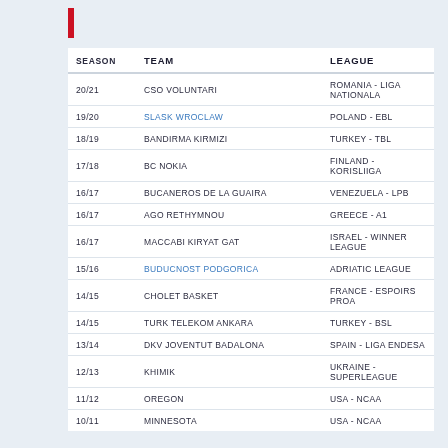| SEASON | TEAM | LEAGUE |
| --- | --- | --- |
| 20/21 | CSO VOLUNTARI | ROMANIA - LIGA NATIONALA |
| 19/20 | SLASK WROCLAW | POLAND - EBL |
| 18/19 | BANDIRMA KIRMIZI | TURKEY - TBL |
| 17/18 | BC NOKIA | FINLAND - KORISLIIGA |
| 16/17 | BUCANEROS DE LA GUAIRA | VENEZUELA - LPB |
| 16/17 | AGO RETHYMNOU | GREECE - A1 |
| 16/17 | MACCABI KIRYAT GAT | ISRAEL - WINNER LEAGUE |
| 15/16 | BUDUCNOST PODGORICA | ADRIATIC LEAGUE |
| 14/15 | CHOLET BASKET | FRANCE - ESPOIRS PROA |
| 14/15 | TURK TELEKOM ANKARA | TURKEY - BSL |
| 13/14 | DKV JOVENTUT BADALONA | SPAIN - LIGA ENDESA |
| 12/13 | KHIMIK | UKRAINE -SUPERLEAGUE |
| 11/12 | OREGON | USA - NCAA |
| 10/11 | MINNESOTA | USA - NCAA |